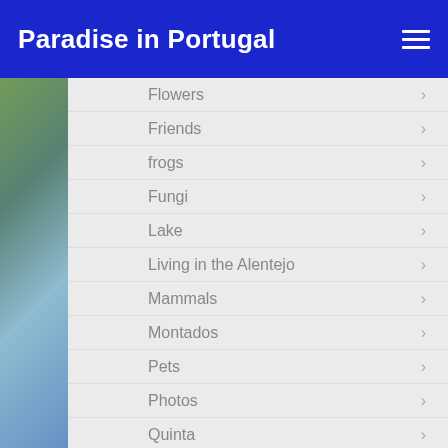Paradise in Portugal
Flowers
Friends
frogs
Fungi
Lake
Living in the Alentejo
Mammals
Montados
Pets
Photos
Quinta
Reptiles & Amphibians